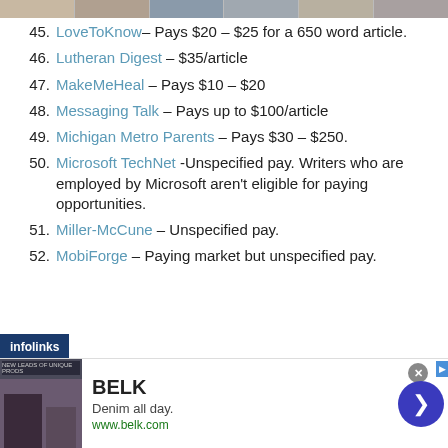45. LoveToKnow – Pays $20 – $25 for a 650 word article.
46. Lutheran Digest – $35/article
47. MakeMeHeal – Pays $10 – $20
48. Messaging Talk – Pays up to $100/article
49. Michigan Metro Parents – Pays $30 – $250.
50. Microsoft TechNet -Unspecified pay. Writers who are employed by Microsoft aren't eligible for paying opportunities.
51. Miller-McCune – Unspecified pay.
52. MobiForge – Paying market but unspecified pay.
[Figure (infographic): Advertisement banner for BELK – Denim all day. www.belk.com with clothing imagery and navigation arrow.]